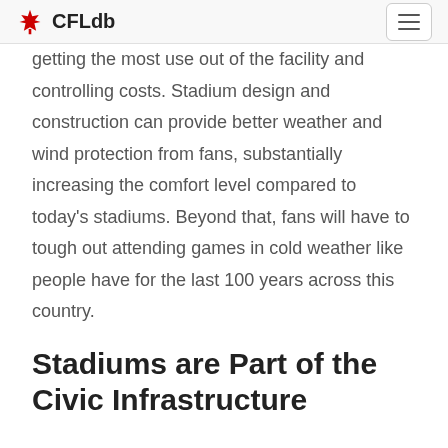CFLdb
getting the most use out of the facility and controlling costs.  Stadium design and construction can provide better weather and wind protection from fans, substantially increasing the comfort level compared to today's stadiums.  Beyond that, fans will have to tough out attending games in cold weather like people have for the last 100 years across this country.
Stadiums are Part of the Civic Infrastructure